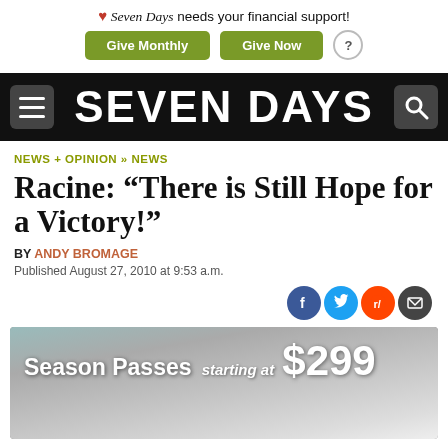❤ Seven Days needs your financial support! Give Monthly  Give Now  ?
[Figure (logo): Seven Days newspaper navigation bar with hamburger menu, site title SEVEN DAYS, and search icon on black background]
NEWS + OPINION » NEWS
Racine: "There is Still Hope for a Victory!"
BY ANDY BROMAGE
Published August 27, 2010 at 9:53 a.m.
[Figure (infographic): Social sharing icons: Facebook, Twitter, Reddit, Email]
[Figure (photo): Advertisement banner: Season Passes starting at $299, showing a skier on a snowy slope]